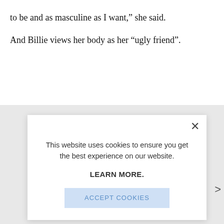to be and as masculine as I want,” she said.
And Billie views her body as her “ugly friend”.
[Figure (screenshot): Cookie consent modal dialog with close button (×), message 'This website uses cookies to ensure you get the best experience on our website.', a bold 'LEARN MORE.' link, and an 'ACCEPT COOKIES' button in light blue.]